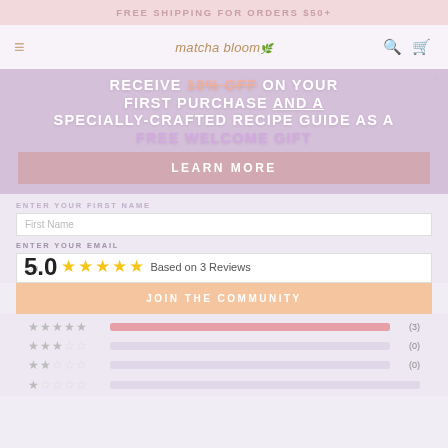FREE SHIPPING FOR ORDERS $50+
[Figure (screenshot): Matcha Bloom website navigation bar with hamburger menu, logo, search and cart icons]
RECEIVE 10% OFF ON YOUR FIRST PURCHASE AND A SPECIALLY-CRAFTED RECIPE GUIDE AS A FREE WELCOME GIFT
LEARN MORE
ENTER YOUR FIRST NAME
First Name
ENTER YOUR EMAIL
Email Address
5.0 ★★★★★ Based on 3 Reviews
JOIN THE COMMUNITY
| Stars | Bar | Count |
| --- | --- | --- |
| ★★★★★ | full | (3) |
| ★★★☆☆ | empty | (0) |
| ★★☆☆☆ | empty | (0) |